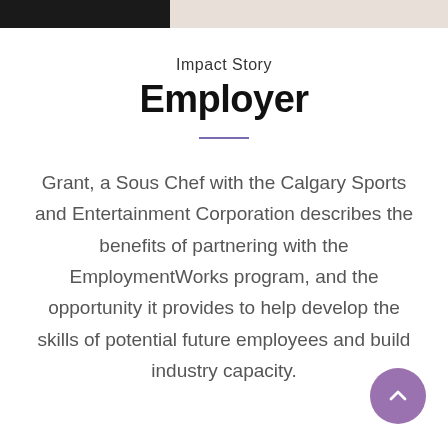[Figure (photo): Top image bar showing a dark left portion and lighter right portion (partial screenshot of a kitchen/sports setting)]
Impact Story
Employer
Grant, a Sous Chef with the Calgary Sports and Entertainment Corporation describes the benefits of partnering with the EmploymentWorks program, and the opportunity it provides to help develop the skills of potential future employees and build industry capacity.